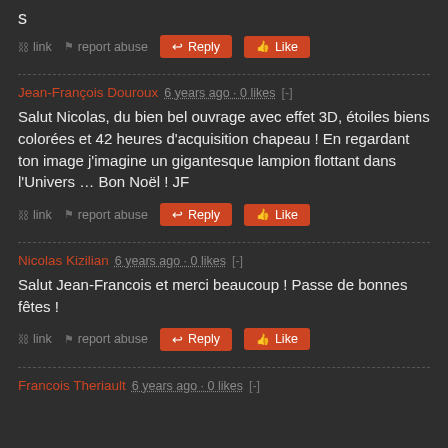s
link   report abuse   Reply   Like
Jean-François Douroux   6 years ago · 0 likes   [-]
Salut Nicolas, du bien bel ouvrage avec effet 3D, étoiles biens colorées et 42 heures d'acquisition chapeau ! En regardant ton image j'imagine un gigantesque lampion flottant dans l'Univers … Bon Noël ! JF
link   report abuse   Reply   Like
Nicolas Kizilian   6 years ago · 0 likes   [-]
Salut Jean-Francois et merci beaucoup ! Passe de bonnes fêtes !
link   report abuse   Reply   Like
Francois Theriault   6 years ago · 0 likes   [-]